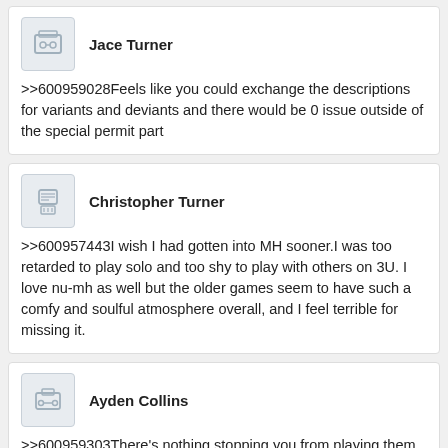Jace Turner
>>600959028Feels like you could exchange the descriptions for variants and deviants and there would be 0 issue outside of the special permit part
Christopher Turner
>>600957443I wish I had gotten into MH sooner.I was too retarded to play solo and too shy to play with others on 3U. I love nu-mh as well but the older games seem to have such a comfy and soulful atmosphere overall, and I feel terrible for missing it.
Ayden Collins
>>600959303There's nothing stopping you from playing them right now
Ethan Edwards